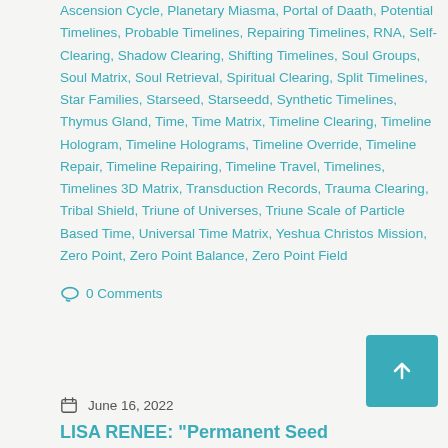Ascension Cycle, Planetary Miasma, Portal of Daath, Potential Timelines, Probable Timelines, Repairing Timelines, RNA, Self-Clearing, Shadow Clearing, Shifting Timelines, Soul Groups, Soul Matrix, Soul Retrieval, Spiritual Clearing, Split Timelines, Star Families, Starseed, Starseedd, Synthetic Timelines, Thymus Gland, Time, Time Matrix, Timeline Clearing, Timeline Hologram, Timeline Holograms, Timeline Override, Timeline Repair, Timeline Repairing, Timeline Travel, Timelines, Timelines 3D Matrix, Transduction Records, Trauma Clearing, Tribal Shield, Triune of Universes, Triune Scale of Particle Based Time, Universal Time Matrix, Yeshua Christos Mission, Zero Point, Zero Point Balance, Zero Point Field
0 Comments
June 16, 2022
LISA RENEE: "Permanent Seed